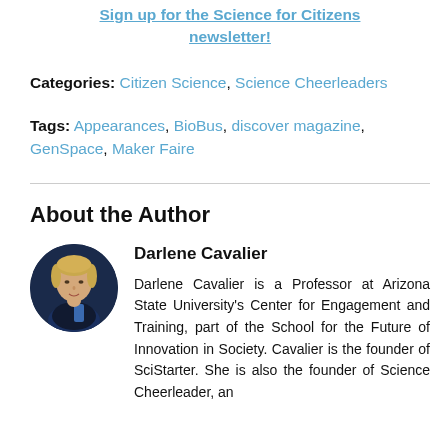Sign up for the Science for Citizens newsletter!
Categories: Citizen Science, Science Cheerleaders
Tags: Appearances, BioBus, discover magazine, GenSpace, Maker Faire
About the Author
[Figure (photo): Circular headshot photo of Darlene Cavalier against a dark blue background]
Darlene Cavalier
Darlene Cavalier is a Professor at Arizona State University's Center for Engagement and Training, part of the School for the Future of Innovation in Society. Cavalier is the founder of SciStarter. She is also the founder of Science Cheerleader, an